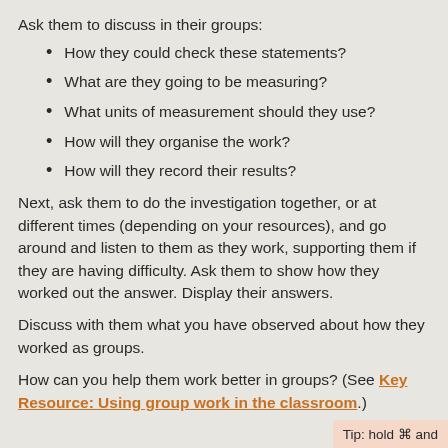Ask them to discuss in their groups:
How they could check these statements?
What are they going to be measuring?
What units of measurement should they use?
How will they organise the work?
How will they record their results?
Next, ask them to do the investigation together, or at different times (depending on your resources), and go around and listen to them as they work, supporting them if they are having difficulty. Ask them to show how they worked out the answer. Display their answers.
Discuss with them what you have observed about how they worked as groups.
How can you help them work better in groups? (See Key Resource: Using group work in the classroom.)
Tip: hold ⌘ and